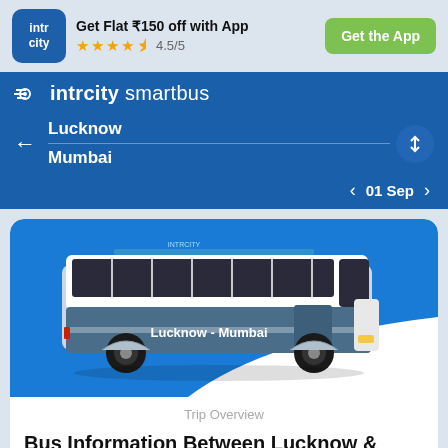[Figure (logo): IntrCity app logo - blue rounded square with 'intr city' text in white]
Get Flat ₹150 off with App
★★★★½ 4.5/5
Get the App
intrcity smartbus
Lucknow
Mumbai
01 Sep
[Figure (illustration): IntrCity SmartBus coach illustration with 'Lucknow - Mumbai' text on side, shown on blue background with white wave]
Trip Overview
Bus Information Between Lucknow & Mumbai